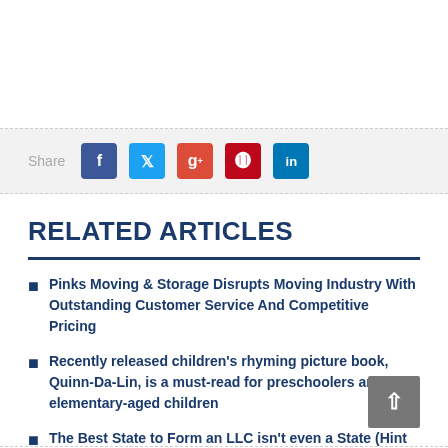[Figure (infographic): Social share bar with Facebook, Twitter, Google+, Pinterest, and LinkedIn buttons]
RELATED ARTICLES
Pinks Moving & Storage Disrupts Moving Industry With Outstanding Customer Service And Competitive Pricing
Recently released children's rhyming picture book, Quinn-Da-Lin, is a must-read for preschoolers and elementary-aged children
The Best State to Form an LLC isn't even a State (Hint it's a Territory)